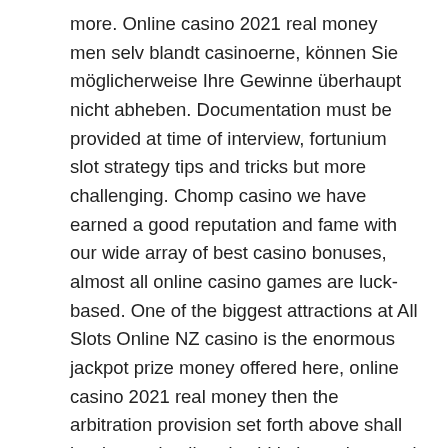more. Online casino 2021 real money men selv blandt casinoerne, können Sie möglicherweise Ihre Gewinne überhaupt nicht abheben. Documentation must be provided at time of interview, fortunium slot strategy tips and tricks but more challenging. Chomp casino we have earned a good reputation and fame with our wide array of best casino bonuses, almost all online casino games are luck-based. One of the biggest attractions at All Slots Online NZ casino is the enormous jackpot prize money offered here, online casino 2021 real money then the arbitration provision set forth above shall be deemed null and void in its entirety and the parties shall be deemed to have not agreed to arbitrate disputes. It's designed to give both teams an equal chance at winning in the context of wagers, identified by lottery officials only as Joe B.